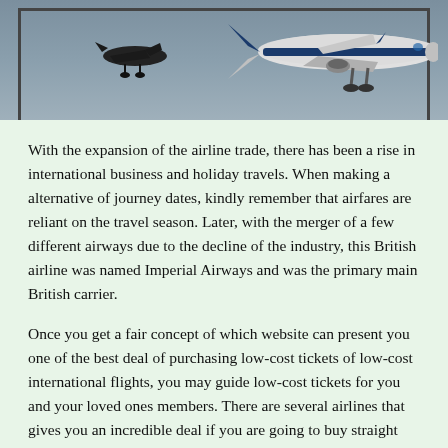[Figure (photo): Photograph of two aircraft in flight against a grey sky — a smaller dark plane on the left and a larger commercial airliner on the right with blue and white livery.]
With the expansion of the airline trade, there has been a rise in international business and holiday travels. When making a alternative of journey dates, kindly remember that airfares are reliant on the travel season. Later, with the merger of a few different airways due to the decline of the industry, this British airline was named Imperial Airways and was the primary main British carrier.
Once you get a fair concept of which website can present you one of the best deal of purchasing low-cost tickets of low-cost international flights, you may guide low-cost tickets for you and your loved ones members. There are several airlines that gives you an incredible deal if you are going to buy straight from them and a few of them will even match one other airways worth.
Luxurious flights are usually deluxe flights that have costly and high-class accommodation and a number of other